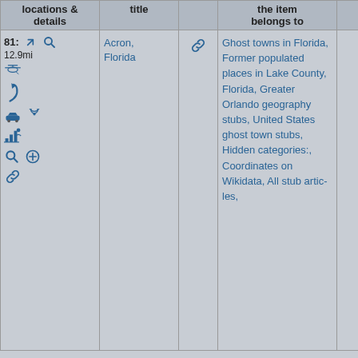| locations & details | title |  | the item belongs to |  |
| --- | --- | --- | --- | --- |
| 81: 12.9mi [icons] | Acron, Florida | [link icon] | Ghost towns in Florida, Former populated places in Lake County, Florida, Greater Orlando geography stubs, United States ghost town stubs, Hidden categories:, Coordinates on Wikidata, All stub articles, |  |